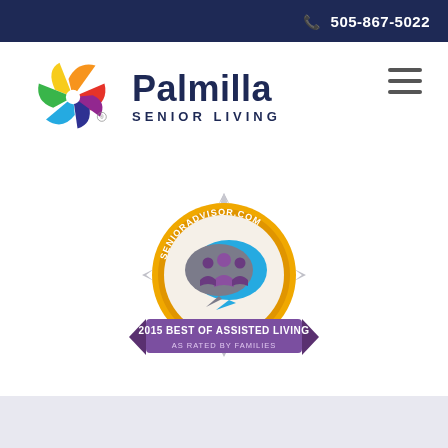📞 505-867-5022
[Figure (logo): Palmilla Senior Living logo with colorful pinwheel star and navy text reading Palmilla SENIOR LIVING]
[Figure (illustration): SeniorAdvisor.com award badge: 2015 Best of Assisted Living as rated by families, with purple ribbon and gold starburst seal]